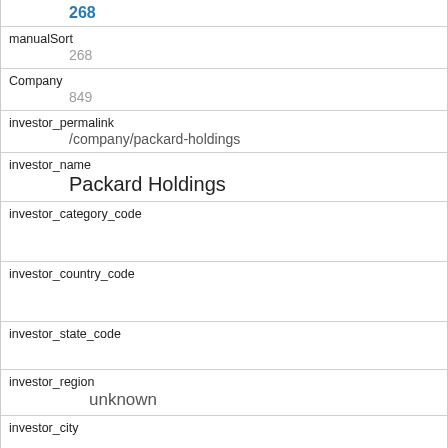268
manualSort
268
Company
849
investor_permalink
/company/packard-holdings
investor_name
Packard Holdings
investor_category_code
investor_country_code
investor_state_code
investor_region
unknown
investor_city
funding_round_type
angel